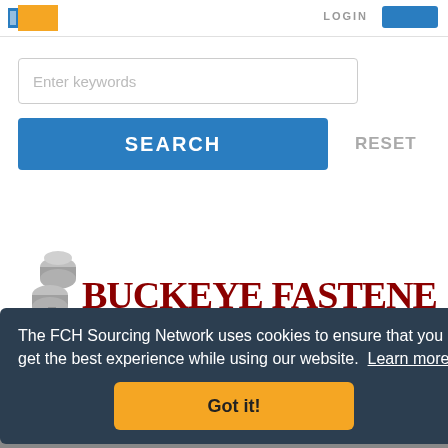LOGIN
[Figure (logo): FCH Sourcing Network logo with blue and orange graphic mark]
Enter keywords
SEARCH
RESET
[Figure (logo): Buckeye Fasteners Co. logo with hexagonal bolt graphic and red serif text reading BUCKEYE FASTENERS CO. and subtitle CUSTOM MANUFACTURING & SOURCING SPECIALISTS]
The FCH Sourcing Network uses cookies to ensure that you get the best experience while using our website. Learn more
Got it!
vork